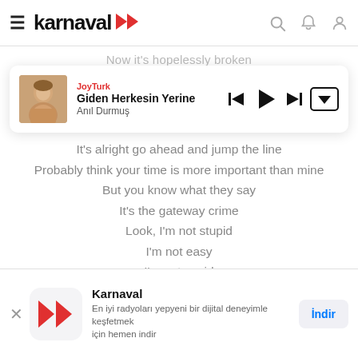karnaval (app navigation bar with hamburger menu, logo, search, bell, and profile icons)
Now it's hopelessly broken
[Figure (screenshot): Music player card showing JoyTurk station, song 'Giden Herkesin Yerine' by Anıl Durmuş, with thumbnail photo of artist and playback controls (prev, play, next, dropdown)]
It's alright go ahead and jump the line
Probably think your time is more important than mine
But you know what they say
It's the gateway crime
Look, I'm not stupid
I'm not easy
I'm not cupid
No one needs me
But I'm needy, yeah
So damn needy

What if people knew what to say
What if there was no wrong or right way
[Figure (screenshot): Bottom app install banner for Karnaval app with red double-play logo, text 'Karnaval - En iyi radyoları yepyeni bir dijital deneyimle keşfetmek için hemen indir' and 'İndir' button]